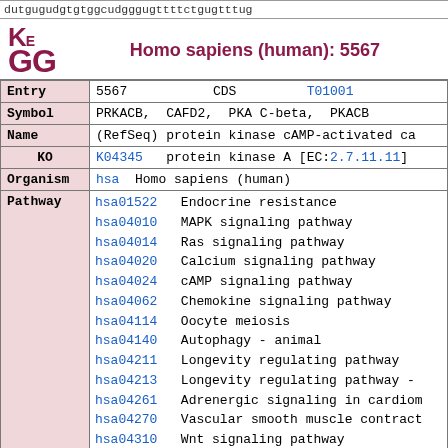dutgugudgtgtggcudgggugttttctgugtttug
[Figure (logo): KEGG logo in dark red/maroon color]
Homo sapiens (human): 5567
| Field | Value |
| --- | --- |
| Entry | 5567    CDS    T01001 |
| Symbol | PRKACB, CAFD2, PKA C-beta, PKACB |
| Name | (RefSeq) protein kinase cAMP-activated ca |
| KO | K04345    protein kinase A [EC:2.7.11.11] |
| Organism | hsa  Homo sapiens (human) |
| Pathway | hsa01522  Endocrine resistance
hsa04010  MAPK signaling pathway
hsa04014  Ras signaling pathway
hsa04020  Calcium signaling pathway
hsa04024  cAMP signaling pathway
hsa04062  Chemokine signaling pathway
hsa04114  Oocyte meiosis
hsa04140  Autophagy - animal
hsa04211  Longevity regulating pathway
hsa04213  Longevity regulating pathway -
hsa04261  Adrenergic signaling in cardiom
hsa04270  Vascular smooth muscle contract
hsa04310  Wnt signaling pathway
hsa04340  Hedgehog signaling pathway
hsa04371  Apelin signaling pathway |